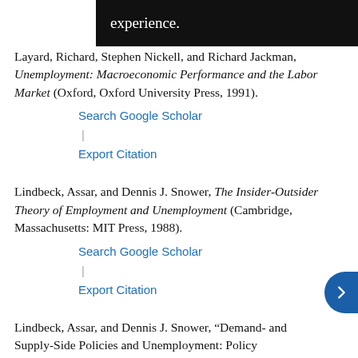experience.
Layard, Richard, Stephen Nickell, and Richard Jackman, Unemployment: Macroeconomic Performance and the Labor Market (Oxford, Oxford University Press, 1991).
Search Google Scholar | Export Citation
Lindbeck, Assar, and Dennis J. Snower, The Insider-Outsider Theory of Employment and Unemployment (Cambridge, Massachusetts: MIT Press, 1988).
Search Google Scholar | Export Citation
Lindbeck, Assar, and Dennis J. Snower, “Demand- and Supply-Side Policies and Unemployment: Policy Implications of the Insider-Outsider Approach,” Scandinavian Journal of Economics (1990), 92(2), pp. 279–305.
Search Google Scholar